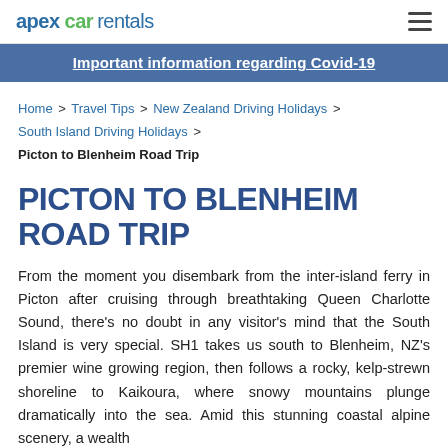apex car rentals
Important information regarding Covid-19
Home > Travel Tips > New Zealand Driving Holidays > South Island Driving Holidays > Picton to Blenheim Road Trip
PICTON TO BLENHEIM ROAD TRIP
From the moment you disembark from the inter-island ferry in Picton after cruising through breathtaking Queen Charlotte Sound, there's no doubt in any visitor's mind that the South Island is very special. SH1 takes us south to Blenheim, NZ's premier wine growing region, then follows a rocky, kelp-strewn shoreline to Kaikoura, where snowy mountains plunge dramatically into the sea. Amid this stunning coastal alpine scenery, a wealth